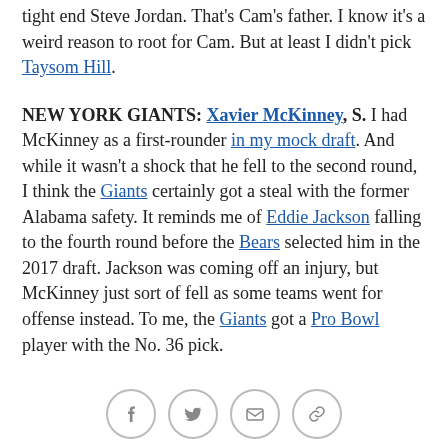tight end Steve Jordan. That's Cam's father. I know it's a weird reason to root for Cam. But at least I didn't pick Taysom Hill.
NEW YORK GIANTS: Xavier McKinney, S. I had McKinney as a first-rounder in my mock draft. And while it wasn't a shock that he fell to the second round, I think the Giants certainly got a steal with the former Alabama safety. It reminds me of Eddie Jackson falling to the fourth round before the Bears selected him in the 2017 draft. Jackson was coming off an injury, but McKinney just sort of fell as some teams went for offense instead. To me, the Giants got a Pro Bowl player with the No. 36 pick.
NEW YORK JETS: Sam Darnold, QB. I'm always